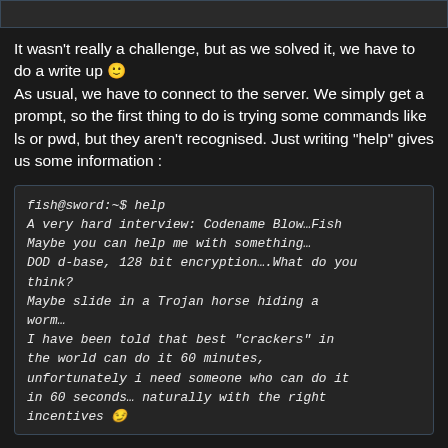[Figure (screenshot): Dark top bar element representing a UI component]
It wasn't really a challenge, but as we solved it, we have to do a write up 🙂
As usual, we have to connect to the server. We simply get a prompt, so the first thing to do is trying some commands like ls or pwd, but they aren't recognised. Just writing "help" gives us some information :
fish@sword:~$ help
A very hard interview: Codename Blow…Fish
Maybe you can help me with something…
DOD d-base, 128 bit encryption….What do you think?
Maybe slide in a Trojan horse hiding a worm…
I have been told that best "crackers" in the world can do it 60 minutes, unfortunately i need someone who can do it in 60 seconds… naturally with the right incentives 😏